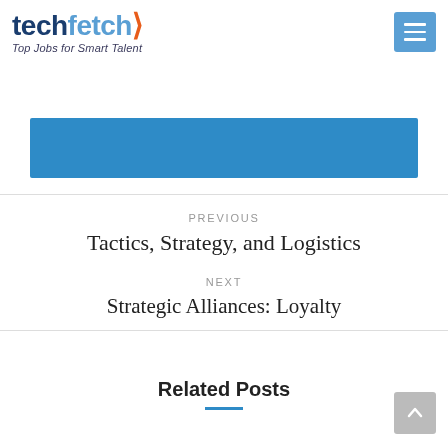techfetch – Top Jobs for Smart Talent
[Figure (other): Blue banner/hero image area]
PREVIOUS
Tactics, Strategy, and Logistics
NEXT
Strategic Alliances: Loyalty
Related Posts